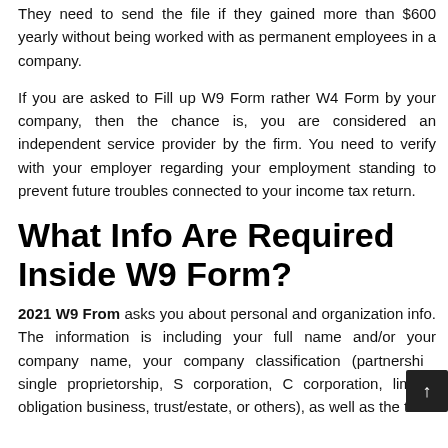They need to send the file if they gained more than $600 yearly without being worked with as permanent employees in a company.
If you are asked to Fill up W9 Form rather W4 Form by your company, then the chance is, you are considered an independent service provider by the firm. You need to verify with your employer regarding your employment standing to prevent future troubles connected to your income tax return.
What Info Are Required Inside W9 Form?
2021 W9 From asks you about personal and organization info. The information is including your full name and/or your company name, your company classification (partnership, single proprietorship, S corporation, C corporation, limited obligation business, trust/estate, or others), as well as the tax